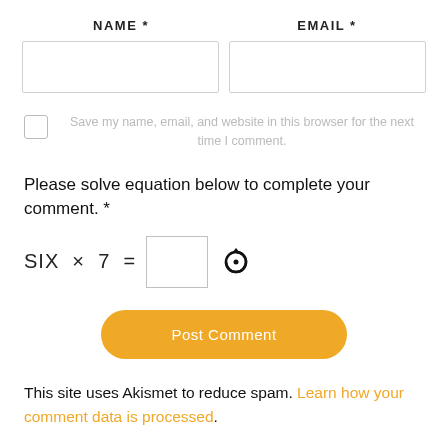NAME *
EMAIL *
Save my name, email, and website in this browser for the next time I comment.
Please solve equation below to complete your comment. *
Post Comment
This site uses Akismet to reduce spam. Learn how your comment data is processed.